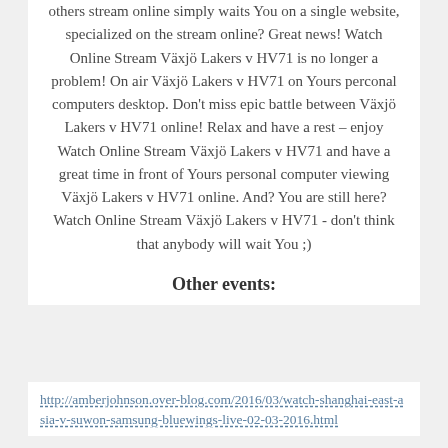others stream online simply waits You on a single website, specialized on the stream online? Great news! Watch Online Stream Växjö Lakers v HV71 is no longer a problem! On air Växjö Lakers v HV71 on Yours perconal computers desktop. Don't miss epic battle between Växjö Lakers v HV71 online! Relax and have a rest – enjoy Watch Online Stream Växjö Lakers v HV71 and have a great time in front of Yours personal computer viewing Växjö Lakers v HV71 online. And? You are still here? Watch Online Stream Växjö Lakers v HV71 - don't think that anybody will wait You ;)
Other events:
http://amberjohnson.over-blog.com/2016/03/watch-shanghai-east-asia-v-suwon-samsung-bluewings-live-02-03-2016.html